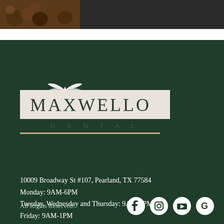[Figure (photo): Top strip with food/ingredient photo on dark background]
[Figure (logo): Maxwello Dental logo with butterfly graphic, white/cream background box, dark green text, gold underline]
10009 Broadway St #107, Pearland, TX 77584
Monday: 9AM-6PM
Tuesday, Wednesday and Thursday: 9AM-5PM
Friday: 9AM-1PM
713-436-2522
pearland@maxwellodental.com
All Rights Reserved.